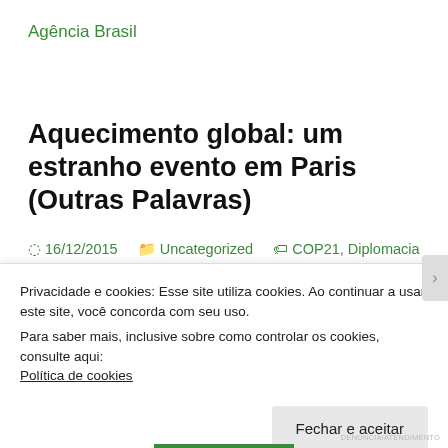Agência Brasil
Aquecimento global: um estranho evento em Paris (Outras Palavras)
16/12/2015    Uncategorized    COP21, Diplomacia climática, Incerteza, Mudanças climáticas, Paris, Previsão
POR GEORGE MONRIOT
Privacidade e cookies: Esse site utiliza cookies. Ao continuar a usar este site, você concorda com seu uso.
Para saber mais, inclusive sobre como controlar os cookies, consulte aqui:
Política de cookies
Fechar e aceitar